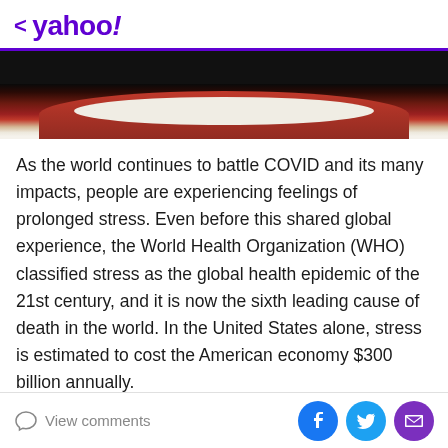< yahoo!
[Figure (photo): Partial view of a bowl of food (appears to be rice or grain dish on a red plate/bowl) against a dark background]
As the world continues to battle COVID and its many impacts, people are experiencing feelings of prolonged stress. Even before this shared global experience, the World Health Organization (WHO) classified stress as the global health epidemic of the 21st century, and it is now the sixth leading cause of death in the world. In the United States alone, stress is estimated to cost the American economy $300 billion annually.
myAir was created amid this crisis to provide a solution
View comments